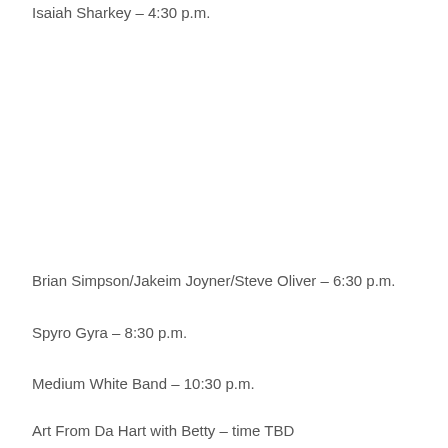Isaiah Sharkey – 4:30 p.m.
Brian Simpson/Jakeim Joyner/Steve Oliver – 6:30 p.m.
Spyro Gyra – 8:30 p.m.
Medium White Band – 10:30 p.m.
Art From Da Hart with Betty – time TBD